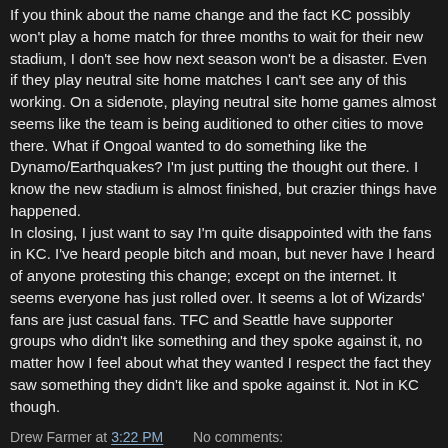If you think about the name change and the fact KC possibly won't play a home match for three months to wait for their new stadium, I don't see how next season won't be a disaster. Even if they play neutral site home matches I can't see any of this working. On a sidenote, playing neutral site home games almost seems like the team is being auditioned to other cities to move there. What if Ongoal wanted to do something like the Dynamo/Earthquakes? I'm just putting the thought out there. I know the new stadium is almost finished, but crazier things have happened. In closing, I just want to say I'm quite disappointed with the fans in KC. I've heard people bitch and moan, but never have I heard of anyone protesting this change; except on the internet. It seems everyone has just rolled over. It seems a lot of Wizards' fans are just casual fans. TFC and Seattle have supporter groups who didn't like something and they spoke against it, no matter how I feel about what they wanted I respect the fact they saw something they didn't like and spoke against it. Not in KC though.
Drew Farmer at 3:22 PM   No comments: